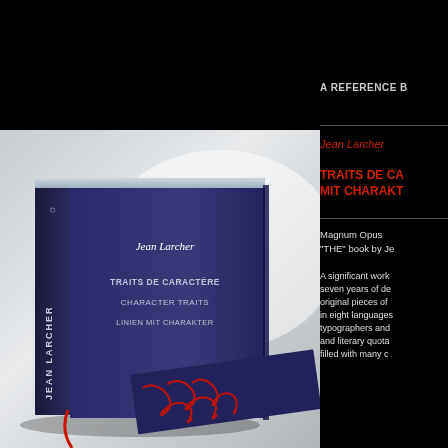A REFERENCE B...
[Figure (photo): Photo of the book 'Traits de Caractère / Character Traits / Linien mit Charakter' by Jean Larcher, showing a navy blue hardcover book with red decorative pattern on a flat surface]
Jean Larcher
TRAITS DE CA... / MIT CHARAKT...
Magnum Opus
"THE" book by Je...
A significant work... seven years of de... original pieces of... in eight languages... typographers and... and literary quota... filled with many c...